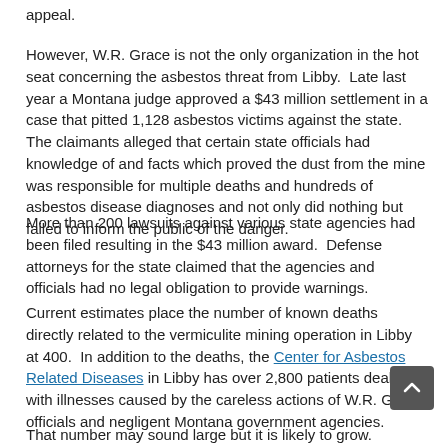appeal.
However, W.R. Grace is not the only organization in the hot seat concerning the asbestos threat from Libby.  Late last year a Montana judge approved a $43 million settlement in a case that pitted 1,128 asbestos victims against the state.  The claimants alleged that certain state officials had knowledge of and facts which proved the dust from the mine was responsible for multiple deaths and hundreds of asbestos disease diagnoses and not only did nothing but failed to inform the public of the danger.
More than 200 lawsuits against various state agencies had been filed resulting in the $43 million award.  Defense attorneys for the state claimed that the agencies and officials had no legal obligation to provide warnings.
Current estimates place the number of known deaths directly related to the vermiculite mining operation in Libby at 400.  In addition to the deaths, the Center for Asbestos Related Diseases in Libby has over 2,800 patients dealing with illnesses caused by the careless actions of W.R. Grace officials and negligent Montana government agencies.
That number may sound large but it is likely to grow.